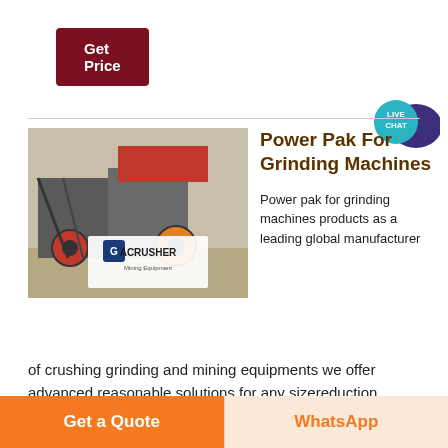Get Price
[Figure (photo): Industrial crushing/grinding machine (jaw crusher) with red and grey components, with ACRUSHER Mining Equipment logo overlay]
Power Pak For Grinding Machines
Power pak for grinding machines products as a leading global manufacturer of crushing grinding and mining equipments we offer advanced reasonable solutions for any sizereduction requirements including power pak for grinding machines quarry aggregate and different kinds of minerals.
Get a Quote
WhatsApp